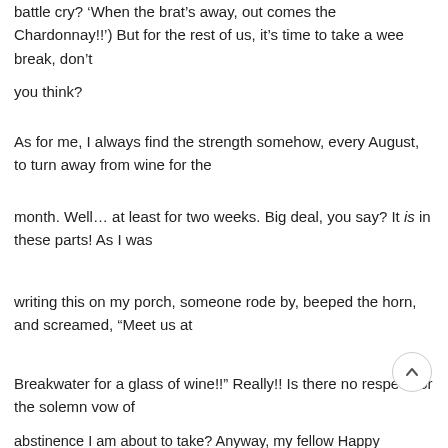battle cry? ‘When the brat’s away, out comes the Chardonnay!!’) But for the rest of us, it’s time to take a wee break, don’t you think?

As for me, I always find the strength somehow, every August, to turn away from wine for the month. Well… at least for two weeks. Big deal, you say? It is in these parts! As I was writing this on my porch, someone rode by, beeped the horn, and screamed, “Meet us at Breakwater for a glass of wine!!” Really!! Is there no respect for the solemn vow of abstinence I am about to take? Anyway, my fellow Happy Wines...